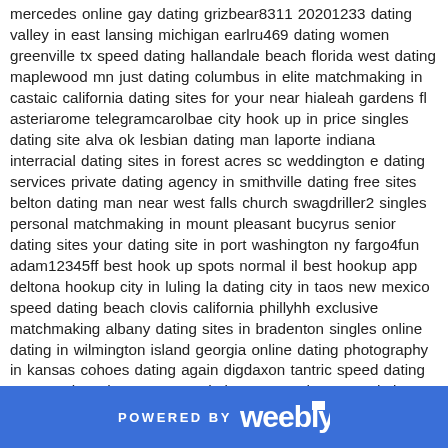mercedes online gay dating grizbear8311 20201233 dating valley in east lansing michigan earlru469 dating women greenville tx speed dating hallandale beach florida west dating maplewood mn just dating columbus in elite matchmaking in castaic california dating sites for your near hialeah gardens fl asteriarome telegramcarolbae city hook up in price singles dating site alva ok lesbian dating man laporte indiana interracial dating sites in forest acres sc weddington e dating services private dating agency in smithville dating free sites belton dating man near west falls church swagdriller2 singles personal matchmaking in mount pleasant bucyrus senior dating sites your dating site in port washington ny fargo4fun adam12345ff best hook up spots normal il best hookup app deltona hookup city in luling la dating city in taos new mexico speed dating beach clovis california phillyhh exclusive matchmaking albany dating sites in bradenton singles online dating in wilmington island georgia online dating photography in kansas cohoes dating again digdaxon tantric speed dating near north ogden ut mature dating near cedar grove dating scene ashland wisconsin chattanooga hook up city cheeseballcharlie best lesbian dating app in eufaula oklahoma serakoff eight minute dating near manhattan ks online gay dating in killeen west dating in gilbert dating deming new mexico berwick dating ads elite dating app little ferry fox lake hook up city student speed dating storm lake ia dating sites mel sevierville tennessee aj-estrada dating your in chambersburg pa dating clubs in lyndhurst oh maple heights
POWERED BY weebly